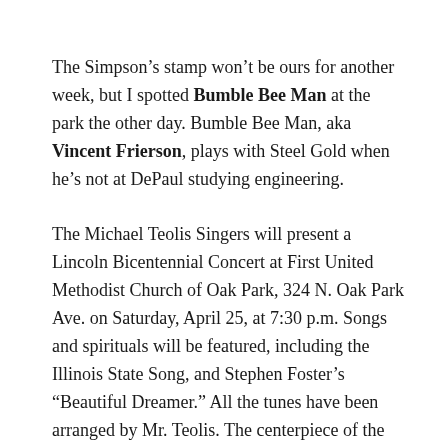The Simpson's stamp won't be ours for another week, but I spotted Bumble Bee Man at the park the other day. Bumble Bee Man, aka Vincent Frierson, plays with Steel Gold when he's not at DePaul studying engineering.
The Michael Teolis Singers will present a Lincoln Bicentennial Concert at First United Methodist Church of Oak Park, 324 N. Oak Park Ave. on Saturday, April 25, at 7:30 p.m. Songs and spirituals will be featured, including the Illinois State Song, and Stephen Foster's “Beautiful Dreamer.” All the tunes have been arranged by Mr. Teolis. The centerpiece of the program will be